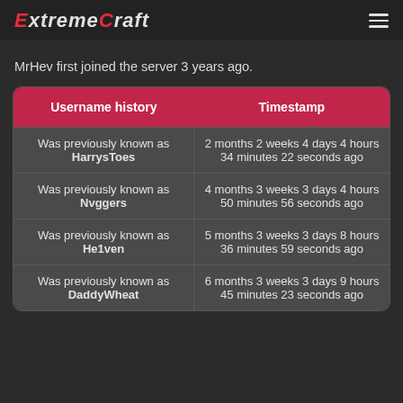ExtremeCraft
MrHev first joined the server 3 years ago.
| Username history | Timestamp |
| --- | --- |
| Was previously known as HarrysToes | 2 months 2 weeks 4 days 4 hours 34 minutes 22 seconds ago |
| Was previously known as Nvggers | 4 months 3 weeks 3 days 4 hours 50 minutes 56 seconds ago |
| Was previously known as He1ven | 5 months 3 weeks 3 days 8 hours 36 minutes 59 seconds ago |
| Was previously known as DaddyWheat | 6 months 3 weeks 3 days 9 hours 45 minutes 23 seconds ago |